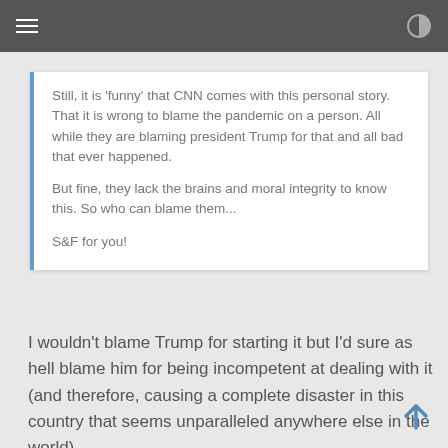Still, it is 'funny' that CNN comes with this personal story. That it is wrong to blame the pandemic on a person. All while they are blaming president Trump for that and all bad that ever happened.

But fine, they lack the brains and moral integrity to know this. So who can blame them...

S&F for you!
I wouldn't blame Trump for starting it but I'd sure as hell blame him for being incompetent at dealing with it (and therefore, causing a complete disaster in this country that seems unparalleled anywhere else in the world).

I did not expect him to find a cure. But he sure as hell could have done something more constructive than stand around bickering with the media for months.